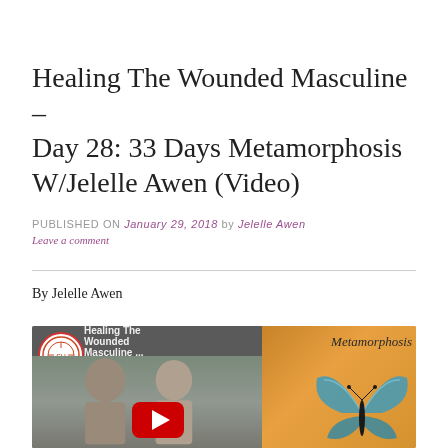Healing The Wounded Masculine – Day 28: 33 Days Metamorphosis W/Jelelle Awen (Video)
PUBLISHED ON January 29, 2018 by Jelelle Awen  Leave a comment
By Jelelle Awen
[Figure (screenshot): YouTube video thumbnail showing two people laughing together on the left side and a butterfly image with the word 'Metamorphosis' on the right side, with a red YouTube play button icon overlay. Video title reads 'Healing The Wounded Masculine ...' with a small circular logo badge.]